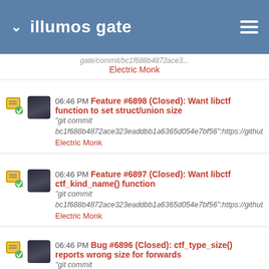illumos gate
gate/commit/... Electric Monk
06:46 PM Feature #6898 (Closed): Want libctf function to set struct/union size
"git commit bc1f688b4872ace323eaddbb1a6365d054e7bf56":https://github.co...gate/commit/bc1f688b4872ace3...
Electric Monk
06:46 PM Feature #6897 (Closed): Want libctf ctf_kind_name() function
"git commit bc1f688b4872ace323eaddbb1a6365d054e7bf56":https://github.co...gate/commit/bc1f688b4872ace3...
Electric Monk
06:46 PM Bug #6896 (Closed): ctf_type_size() reports wrong size for forwards
"git commit